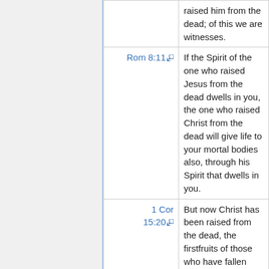| Reference | Verse |
| --- | --- |
|  | raised him from the dead; of this we are witnesses. |
| Rom 8:11 | If the Spirit of the one who raised Jesus from the dead dwells in you, the one who raised Christ from the dead will give life to your mortal bodies also, through his Spirit that dwells in you. |
| 1 Cor 15:20 | But now Christ has been raised from the dead, the firstfruits of those who have fallen asleep. |
| Heb 13:20-21 | May the God of peace, who brought up from the dead the great shepherd of the sheep by the |